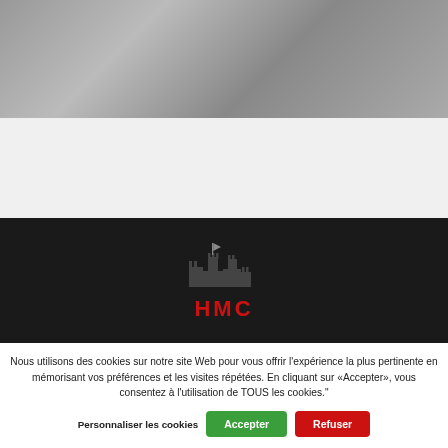[Figure (photo): Partial view of machinery or industrial equipment, grey tones, top portion of page]
[Figure (logo): HMC logo: silhouette of a castle/fortress shape in dark grey with 'HMC' text in red below, on a dark background]
Nous utilisons des cookies sur notre site Web pour vous offrir l'expérience la plus pertinente en mémorisant vos préférences et les visites répétées. En cliquant sur «Accepter», vous consentez à l'utilisation de TOUS les cookies."
Personnaliser les cookies
Accepter
Refuser